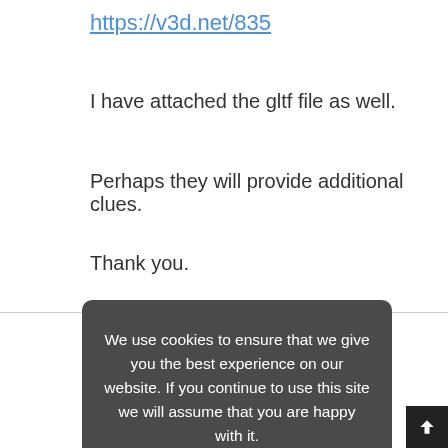https://v3d.net/835
I have attached the gltf file as well.
Perhaps they will provide additional clues.
Thank you.
[Figure (screenshot): Cookie consent modal overlay with dark gray background. Text reads: 'We use cookies to ensure that we give you the best experience on our website. If you continue to use this site we will assume that you are happy with it.' Below is a blue button labeled 'OK, I AGREE'.]
test it.